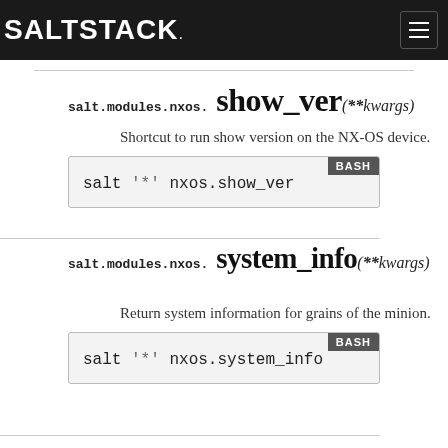SALTSTACK
salt.modules.nxos.show_ver(**kwargs)
Shortcut to run show version on the NX-OS device.
salt '*' nxos.show_ver
salt.modules.nxos.system_info(**kwargs)
Return system information for grains of the minion.
salt '*' nxos.system_info
salt.modules.nxos.unset_role(username